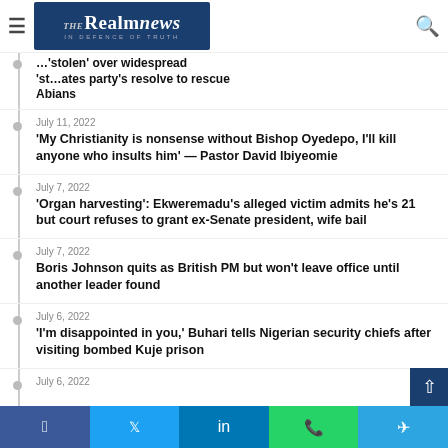The Realm News — IN DEFENCE OF TRUTH
Abians
July 11, 2022
'My Christianity is nonsense without Bishop Oyedepo, I'll kill anyone who insults him' — Pastor David Ibiyeomie
July 7, 2022
'Organ harvesting': Ekweremadu's alleged victim admits he's 21 but court refuses to grant ex-Senate president, wife bail
July 7, 2022
Boris Johnson quits as British PM but won't leave office until another leader found
July 6, 2022
'I'm disappointed in you,' Buhari tells Nigerian security chiefs after visiting bombed Kuje prison
July 6, 2022
Facebook | Twitter | LinkedIn | WhatsApp | Telegram